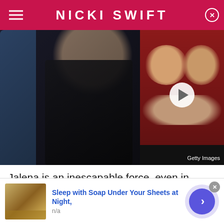NICKI SWIFT
[Figure (photo): Left: person in dark sparkly clothing seated in a blue chair at an event. Right: video thumbnail of a man in tuxedo and a woman, with a play button overlay. Getty Images watermark.]
Jalena is an inescapable force, even in 2018. The notorious relationship began in 2010 when Selena Gomez and Justin Bieber were innocent teens on an innocent date at IHOP. Oh, how things went so wrong in
Sleep with Soap Under Your Sheets at Night,
n/a